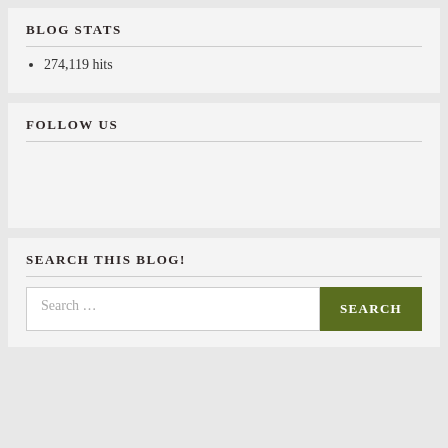BLOG STATS
274,119 hits
FOLLOW US
SEARCH THIS BLOG!
Search ...